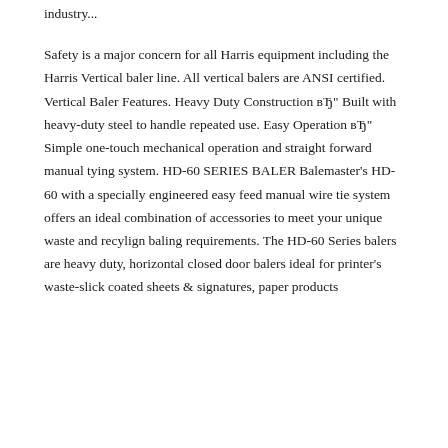industry...
Safety is a major concern for all Harris equipment including the Harris Vertical baler line. All vertical balers are ANSI certified. Vertical Baler Features. Heavy Duty Construction вЂ" Built with heavy-duty steel to handle repeated use. Easy Operation вЂ" Simple one-touch mechanical operation and straight forward manual tying system. HD-60 SERIES BALER Balemaster's HD-60 with a specially engineered easy feed manual wire tie system offers an ideal combination of accessories to meet your unique waste and recylign baling requirements. The HD-60 Series balers are heavy duty, horizontal closed door balers ideal for printer's waste-slick coated sheets & signatures, paper products